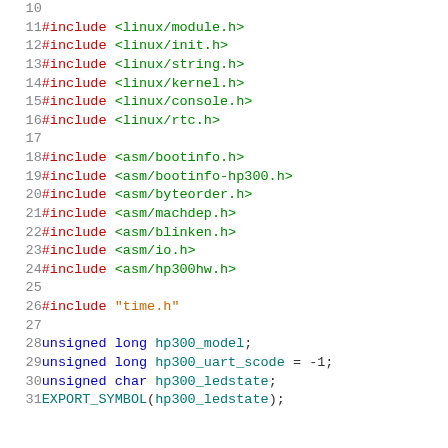Source code listing lines 11-31 showing C #include directives and variable declarations for Linux/hp300 kernel module
11  #include <linux/module.h>
12  #include <linux/init.h>
13  #include <linux/string.h>
14  #include <linux/kernel.h>
15  #include <linux/console.h>
16  #include <linux/rtc.h>
17  
18  #include <asm/bootinfo.h>
19  #include <asm/bootinfo-hp300.h>
20  #include <asm/byteorder.h>
21  #include <asm/machdep.h>
22  #include <asm/blinken.h>
23  #include <asm/io.h>
24  #include <asm/hp300hw.h>
25  
26  #include "time.h"
27  
28  unsigned long hp300_model;
29  unsigned long hp300_uart_scode = -1;
30  unsigned char hp300_ledstate;
31  EXPORT_SYMBOL(hp300_ledstate);